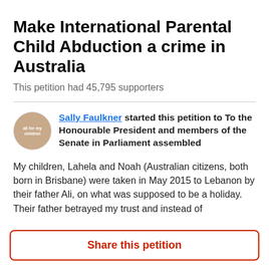Make International Parental Child Abduction a crime in Australia
This petition had 45,795 supporters
Sally Faulkner started this petition to To the Honourable President and members of the Senate in Parliament assembled
My children, Lahela and Noah (Australian citizens, both born in Brisbane) were taken in May 2015 to Lebanon by their father Ali, on what was supposed to be a holiday. Their father betrayed my trust and instead of
Share this petition